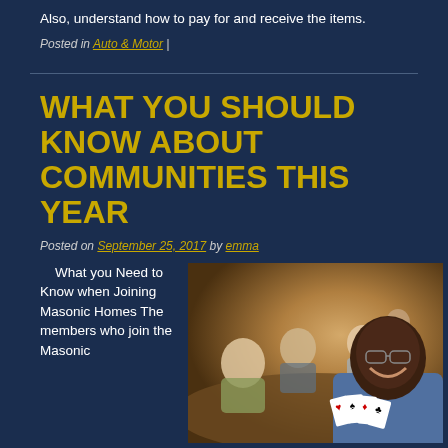Also, understand how to pay for and receive the items.
Posted in Auto & Motor |
WHAT YOU SHOULD KNOW ABOUT COMMUNITIES THIS YEAR
Posted on September 25, 2017 by emma
What you Need to Know when Joining Masonic Homes The members who join the Masonic
[Figure (photo): A smiling bald Black man holding playing cards at a table, with elderly people playing cards in the background in a warm-lit community room.]